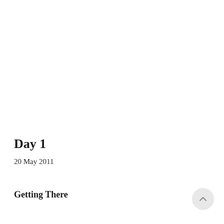Day 1
20 May 2011
Getting There